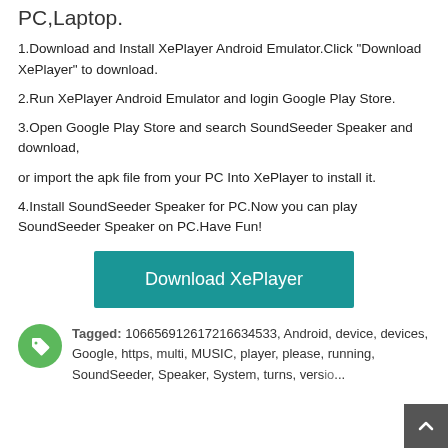PC,Laptop.
1.Download and Install XePlayer Android Emulator.Click "Download XePlayer" to download.
2.Run XePlayer Android Emulator and login Google Play Store.
3.Open Google Play Store and search SoundSeeder Speaker and download,
or import the apk file from your PC Into XePlayer to install it.
4.Install SoundSeeder Speaker for PC.Now you can play SoundSeeder Speaker on PC.Have Fun!
[Figure (other): Teal Download XePlayer button]
Tagged: 106656912617216634533, Android, device, devices, Google, https, multi, MUSIC, player, please, running, SoundSeeder, Speaker, System, turns, version